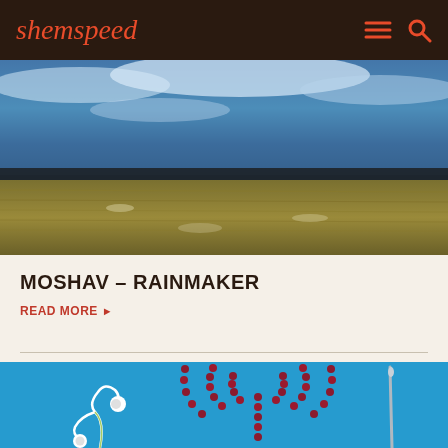shemspeed
[Figure (photo): Aerial or close-up photo of layered landscape: blue stormy sky/water at top, yellow-green field/grass below, dramatic horizontal bands of color]
MOSHAV – RAINMAKER
READ MORE ▶
[Figure (photo): Flat-lay photo on bright blue background: white earbuds/headphones on lower left, a menorah shape formed by dark red berries/beads in center-right, and a thin rod/stick on the far right]